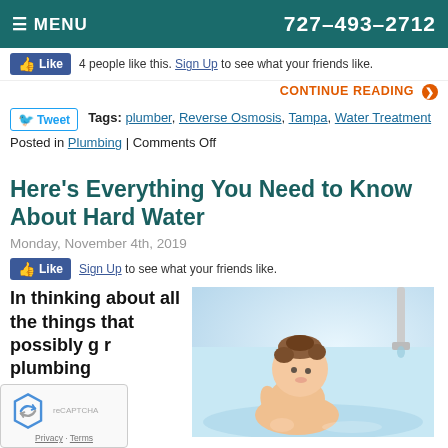≡ MENU  727-493-2712
4 people like this. Sign Up to see what your friends like.
CONTINUE READING ❯
Tags: plumber, Reverse Osmosis, Tampa, Water Treatment
Posted in Plumbing | Comments Off
Here's Everything You Need to Know About Hard Water
Monday, November 4th, 2019
Sign Up to see what your friends like.
In thinking about all the things that possibly g r plumbing
[Figure (photo): Baby in a bathtub with water running from a faucet]